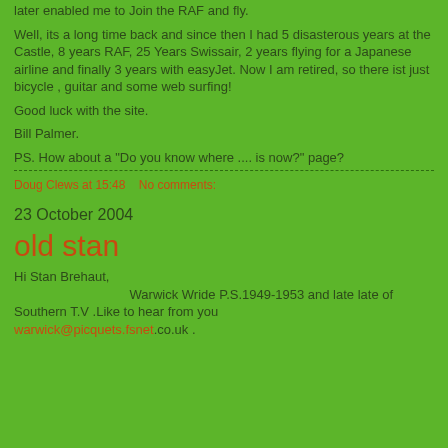later enabled me to Join the RAF and fly.
Well, its a long time back and since then I had 5 disasterous years at the Castle,  8 years RAF, 25 Years Swissair, 2 years flying for a Japanese airline and finally 3 years with easyJet. Now I am retired, so there ist just bicycle , guitar and some web surfing!
Good luck with the site.
Bill Palmer.
PS. How about a "Do you know where .... is now?"  page?
Doug Clews at 15:48    No comments:
23 October 2004
old stan
Hi Stan Brehaut,
                                    Warwick Wride P.S.1949-1953 and late late of Southern T.V .Like to hear from you
warwick@picquets.fsnet.co.uk .